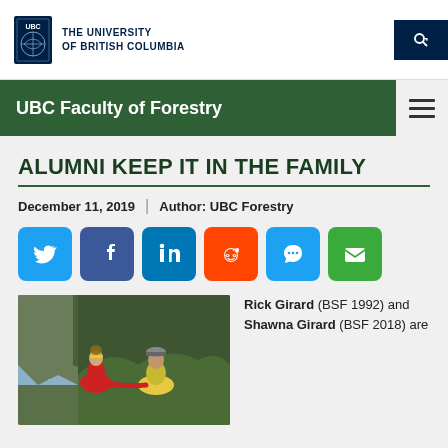THE UNIVERSITY OF BRITISH COLUMBIA
UBC Faculty of Forestry
ALUMNI KEEP IT IN THE FAMILY
December 11, 2019 | Author: UBC Forestry
[Figure (infographic): Social share icons: Twitter, Facebook, LinkedIn, Reddit, Chat, Email]
[Figure (photo): Two people outdoors near a waterfall, one in red jacket, one in yellow jacket with grey cap]
Rick Girard (BSF 1992) and Shawna Girard (BSF 2018) are